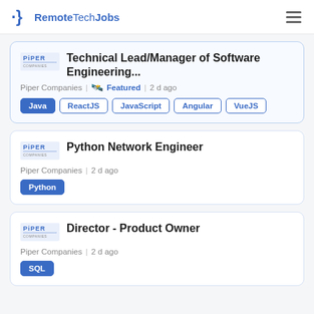RemoteTechJobs
Technical Lead/Manager of Software Engineering...
Piper Companies | Featured | 2 d ago
Java  ReactJS  JavaScript  Angular  VueJS
Python Network Engineer
Piper Companies | 2 d ago
Python
Director - Product Owner
Piper Companies | 2 d ago
SQL